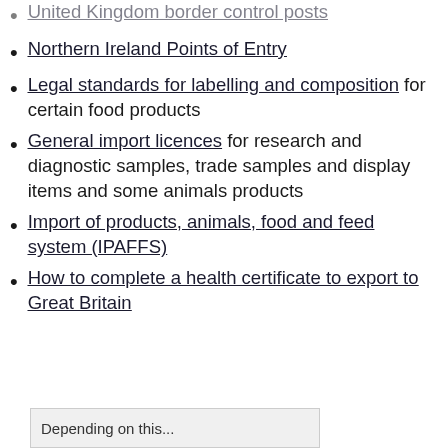United Kingdom border control posts
Northern Ireland Points of Entry
Legal standards for labelling and composition for certain food products
General import licences for research and diagnostic samples, trade samples and display items and some animals products
Import of products, animals, food and feed system (IPAFFS)
How to complete a health certificate to export to Great Britain
Depending on this...